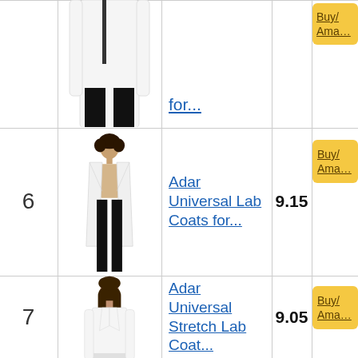| Rank | Image | Product | Score | Action |
| --- | --- | --- | --- | --- |
| (top, partial) | (image) | for... | (partial) | Buy/ Ama... |
| 6 | (image) | Adar Universal Lab Coats for... | 9.15 | Buy/ Ama... |
| 7 | (image) | Adar Universal Stretch Lab Coat... | 9.05 | Buy/ Ama... |
| (8, partial) | (image) | Bulwark FR-VELCIR... | 9.35 | Buy... |